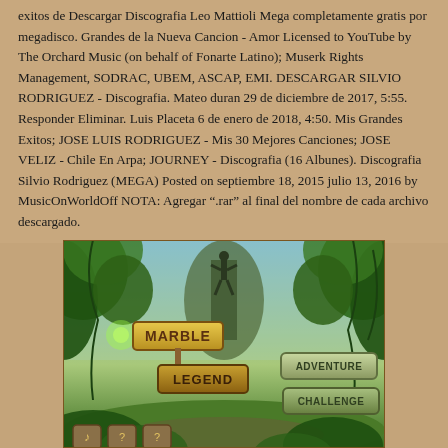exitos de Descargar Discografia Leo Mattioli Mega completamente gratis por megadisco. Grandes de la Nueva Cancion - Amor Licensed to YouTube by The Orchard Music (on behalf of Fonarte Latino); Muserk Rights Management, SODRAC, UBEM, ASCAP, EMI. DESCARGAR SILVIO RODRIGUEZ - Discografia. Mateo duran 29 de diciembre de 2017, 5:55. Responder Eliminar. Luis Placeta 6 de enero de 2018, 4:50. Mis Grandes Exitos; JOSE LUIS RODRIGUEZ - Mis 30 Mejores Canciones; JOSE VELIZ - Chile En Arpa; JOURNEY - Discografia (16 Albunes). Discografia Silvio Rodriguez (MEGA) Posted on septiembre 18, 2015 julio 13, 2016 by MusicOnWorldOff NOTA: Agregar ".rar" al final del nombre de cada archivo descargado.
[Figure (screenshot): A colorful jungle/adventure game screenshot showing a game called 'Marble Legend' with signs reading 'MARBLE', 'LEGEND', 'ADVENTURE', and 'CHALLENGE' in a lush green jungle environment with a figure silhouetted in background.]